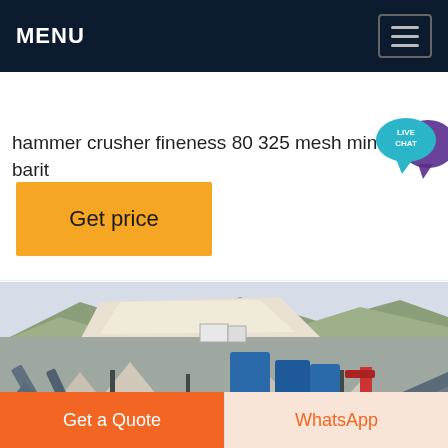MENU
hammer crusher fineness 80 325 mesh mineral barit
[Figure (screenshot): Live Chat bubble icon with teal/cyan speech bubble and 'LIVE CHAT' text]
Get price
[Figure (photo): Aerial or wide-angle photograph of an open-pit mining and crushing plant facility with conveyor belts, crushers, stockpiles of stone, and mountainous terrain in the background]
Get a Quote
WhatsApp